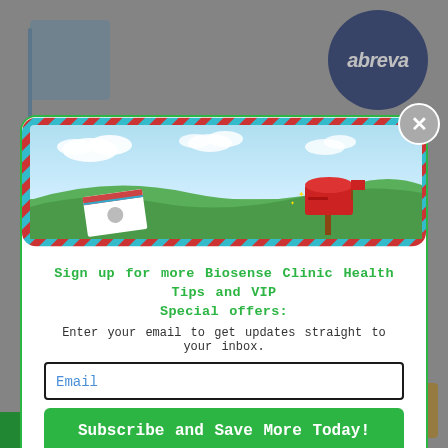[Figure (screenshot): Background of a pharmacy/health product website showing Abreva product circle top right, product boxes, dimmed by modal overlay]
[Figure (illustration): Email subscription popup modal with envelope illustration showing sky, clouds, green hills, a mailbox, and a letter. Has red and teal diagonal stripe border.]
Sign up for more Biosense Clinic Health Tips and VIP Special offers:
Enter your email to get updates straight to your inbox.
Email
Subscribe and Save More Today!
No thanks
Biosense Rewards
SALE